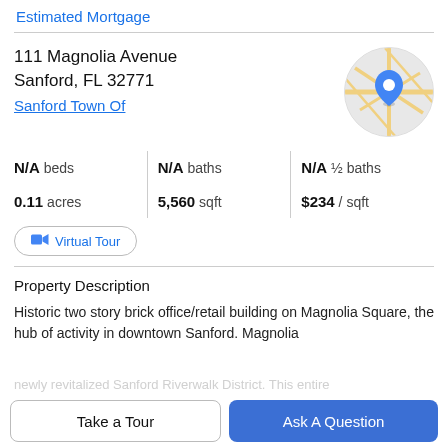Estimated Mortgage
111 Magnolia Avenue
Sanford, FL 32771
Sanford Town Of
[Figure (map): Circular map thumbnail showing street map with blue location pin marker]
N/A beds | N/A baths | N/A ½ baths
0.11 acres | 5,560 sqft | $234 / sqft
Virtual Tour
Property Description
Historic two story brick office/retail building on Magnolia Square, the hub of activity in downtown Sanford. Magnolia
newly revitalized Sanford Riverwalk District. This entire
Take a Tour
Ask A Question